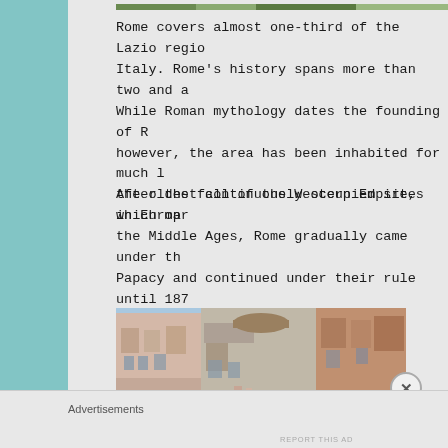[Figure (photo): Top portion of a photo showing trees or outdoor scenery, partially visible at the top of the page]
Rome covers almost one-third of the Lazio region of Italy. Rome's history spans more than two and a half millennia. While Roman mythology dates the founding of Rome, however, the area has been inhabited for much longer as one of the oldest continuously occupied sites in Europe.
After the fall of the Western Empire, which marked the Middle Ages, Rome gradually came under the rule of the Papacy and continued under their rule until 1870.
[Figure (photo): Street-level view of Rome buildings with balconies and facades under a blue sky]
Advertisements